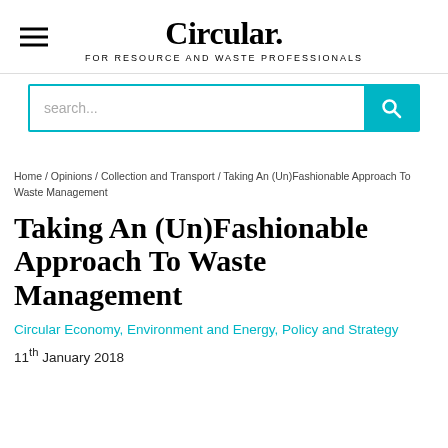Circular. FOR RESOURCE AND WASTE PROFESSIONALS
[Figure (other): Search bar with teal search button and magnifying glass icon]
Home / Opinions / Collection and Transport / Taking An (Un)Fashionable Approach To Waste Management
Taking An (Un)Fashionable Approach To Waste Management
Circular Economy, Environment and Energy, Policy and Strategy
11th January 2018